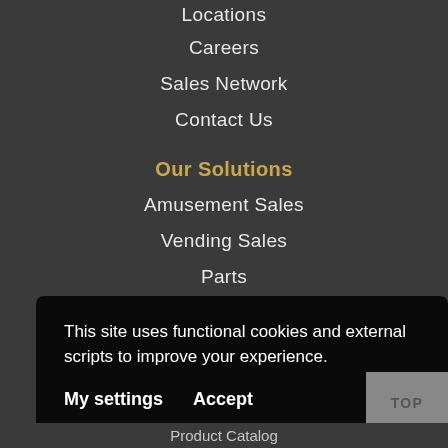Locations
Careers
Sales Network
Contact Us
Our Solutions
Amusement Sales
Vending Sales
Parts
Gaming
Virtual Reality
Jukeboxes
This site uses functional cookies and external scripts to improve your experience.
My settings
Accept
TOP
Product Catalog